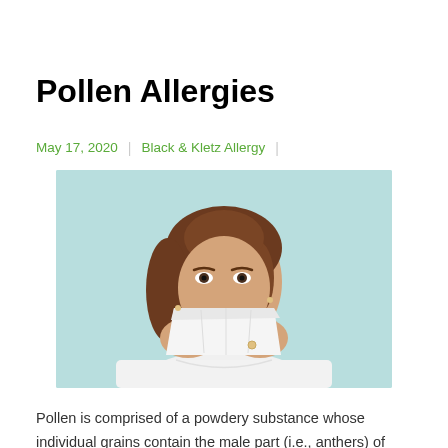Pollen Allergies
May 17, 2020  |  Black & Kletz Allergy  |
[Figure (photo): A woman with brown shoulder-length hair wearing a white shirt, holding a white tissue to her nose and mouth against a light teal background, appearing to have allergy symptoms.]
Pollen is comprised of a powdery substance whose individual grains contain the male part (i.e., anthers) of seed-bearing plants. The